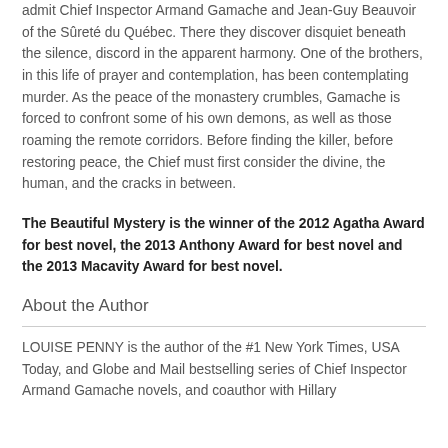admit Chief Inspector Armand Gamache and Jean-Guy Beauvoir of the Sûreté du Québec. There they discover disquiet beneath the silence, discord in the apparent harmony. One of the brothers, in this life of prayer and contemplation, has been contemplating murder. As the peace of the monastery crumbles, Gamache is forced to confront some of his own demons, as well as those roaming the remote corridors. Before finding the killer, before restoring peace, the Chief must first consider the divine, the human, and the cracks in between.
The Beautiful Mystery is the winner of the 2012 Agatha Award for best novel, the 2013 Anthony Award for best novel and the 2013 Macavity Award for best novel.
About the Author
LOUISE PENNY is the author of the #1 New York Times, USA Today, and Globe and Mail bestselling series of Chief Inspector Armand Gamache novels, and coauthor with Hillary